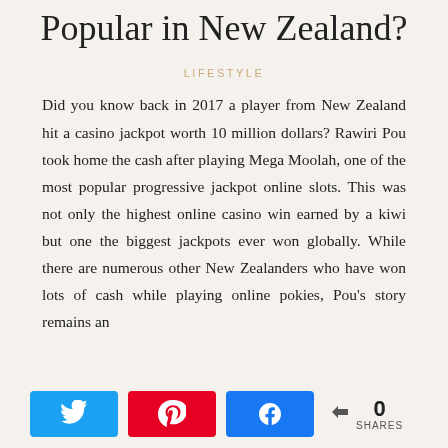Popular in New Zealand?
LIFESTYLE
Did you know back in 2017 a player from New Zealand hit a casino jackpot worth 10 million dollars? Rawiri Pou took home the cash after playing Mega Moolah, one of the most popular progressive jackpot online slots. This was not only the highest online casino win earned by a kiwi but one the biggest jackpots ever won globally. While there are numerous other New Zealanders who have won lots of cash while playing online pokies, Pou's story remains an
[Figure (infographic): Social share bar with Twitter, Pinterest, Facebook buttons and a share count showing 0 SHARES]